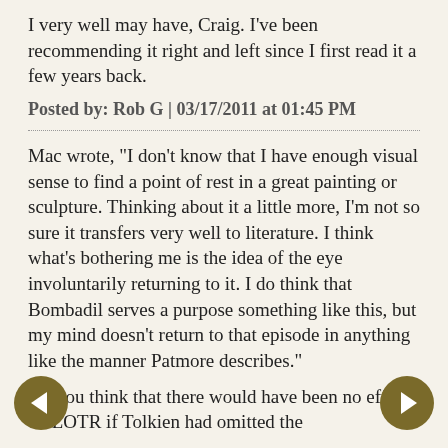I very well may have, Craig. I've been recommending it right and left since I first read it a few years back.
Posted by: Rob G | 03/17/2011 at 01:45 PM
Mac wrote, "I don't know that I have enough visual sense to find a point of rest in a great painting or sculpture. Thinking about it a little more, I'm not so sure it transfers very well to literature. I think what's bothering me is the idea of the eye involuntarily returning to it. I do think that Bombadil serves a purpose something like this, but my mind doesn't return to that episode in anything like the manner Patmore describes."
Do you think that there would have been no effect on LOTR if Tolkien had omitted the